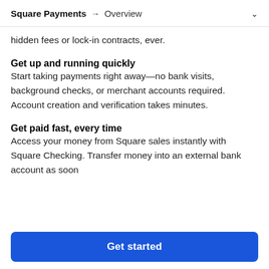Square Payments → Overview
hidden fees or lock-in contracts, ever.
Get up and running quickly
Start taking payments right away—no bank visits, background checks, or merchant accounts required. Account creation and verification takes minutes.
Get paid fast, every time
Access your money from Square sales instantly with Square Checking. Transfer money into an external bank account as soon
Get started